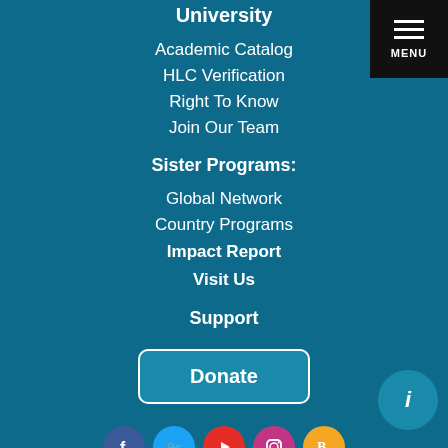University
Academic Catalog
HLC Verification
Right To Know
Join Our Team
Sister Programs:
Global Network
Country Programs
Impact Report
Visit Us
Support
Donate
[Figure (infographic): Social media icons: Facebook, Twitter, YouTube, Instagram, Blogger]